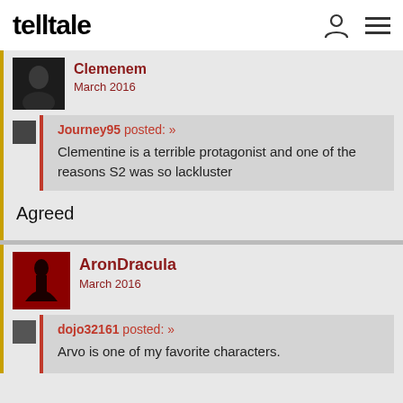telltale
Clemenem
March 2016
Journey95 posted: »
Clementine is a terrible protagonist and one of the reasons S2 was so lackluster
Agreed
AronDracula
March 2016
dojo32161 posted: »
Arvo is one of my favorite characters.